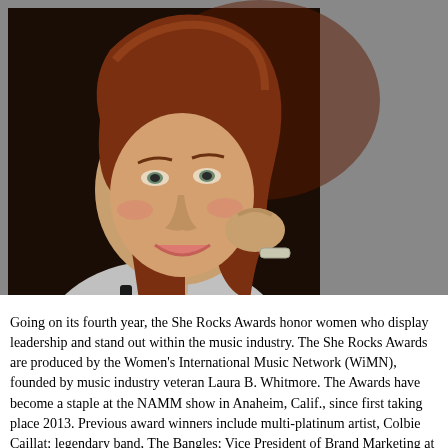[Figure (photo): A woman with auburn/reddish-brown hair smiling at the camera, wearing a silver/sparkly top and a black pendant necklace, with a silver bracelet on her wrist. She is resting her chin/cheek on her hand. Background is dark. The photo is positioned in the upper-left portion of the page against a gray background.]
Going on its fourth year, the She Rocks Awards honor women who display leadership and stand out within the music industry. The She Rocks Awards are produced by the Women's International Music Network (WiMN), founded by music industry veteran Laura B. Whitmore. The Awards have become a staple at the NAMM show in Anaheim, Calif., since first taking place 2013. Previous award winners include multi-platinum artist, Colbie Caillat; legendary band, The Bangles; Vice President of Brand Marketing at Martin Guitar, Amani Duncan; iconic percussionist and drummer, Sheila E;